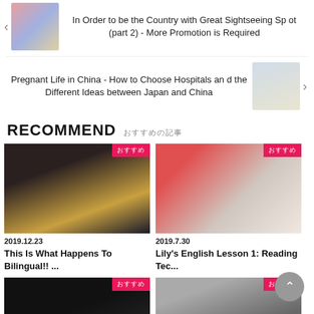[Figure (photo): Group selfie thumbnail with arrow navigation, article: In Order to be the Country with Great Sightseeing Spot (part 2) - More Promotion is Required]
In Order to be the Country with Great Sightseeing Spot (part 2) - More Promotion is Required
[Figure (photo): Person walking on road thumbnail with arrow navigation, article: Pregnant Life in China - How to Choose Hospitals and the Different Ideas between Japan and China]
Pregnant Life in China - How to Choose Hospitals and the Different Ideas between Japan and China
RECOMMEND おすすめの記事
[Figure (photo): Blonde woman with long hair, card image]
おすすめ
2019.12.23
This Is What Happens To Bilingual!! ...
[Figure (photo): Baby in red outfit looking at phone, card image]
おすすめ
2019.7.30
Lily's English Lesson 1: Reading Tec...
[Figure (photo): Dark image card bottom left]
おすすめ
[Figure (photo): Machine/equipment image card bottom right]
おすすめ